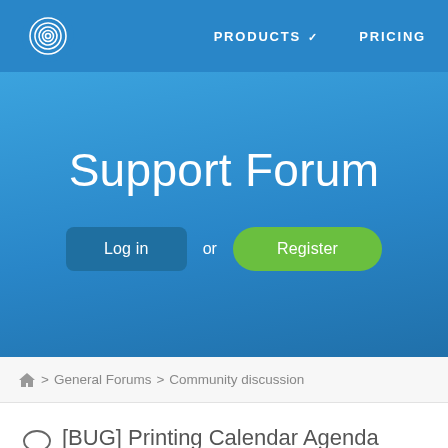[Figure (logo): Spiral/galaxy logo in white on blue background]
PRODUCTS ∨   PRICING
Support Forum
Log in or Register
🏠 > General Forums > Community discussion
[BUG] Printing Calendar Agenda view results in empty page(s)